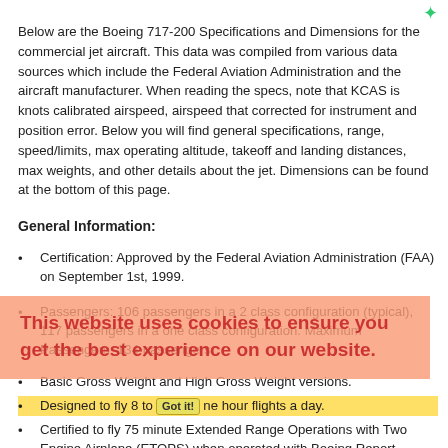Below are the Boeing 717-200 Specifications and Dimensions for the commercial jet aircraft. This data was compiled from various data sources which include the Federal Aviation Administration and the aircraft manufacturer. When reading the specs, note that KCAS is knots calibrated airspeed, airspeed that corrected for instrument and position error. Below you will find general specifications, range, speed/limits, max operating altitude, takeoff and landing distances, max weights, and other details about the jet. Dimensions can be found at the bottom of this page.
General Information:
Certification: Approved by the Federal Aviation Administration (FAA) on September 1st, 1999.
Passengers: 106 passengers in a 2 class configuration (typical), 117 passengers in a one class configuration. Maximum Passengers: 134 passengers.
Basic Gross Weight and High Gross Weight versions.
Designed to fly 8 to 12 one hour flights a day.
Certified to fly 75 minute Extended Range Operations with Two Engine Airplane (ETOPS) when operated with Boeing Report MDC04K9007 entitled, 717 Extended Range